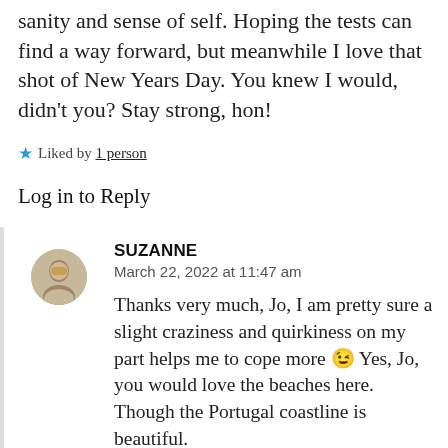sanity and sense of self. Hoping the tests can find a way forward, but meanwhile I love that shot of New Years Day. You knew I would, didn't you? Stay strong, hon!
★ Liked by 1 person
Log in to Reply
SUZANNE
March 22, 2022 at 11:47 am
Thanks very much, Jo, I am pretty sure a slight craziness and quirkiness on my part helps me to cope more 😉 Yes, Jo, you would love the beaches here. Though the Portugal coastline is beautiful.